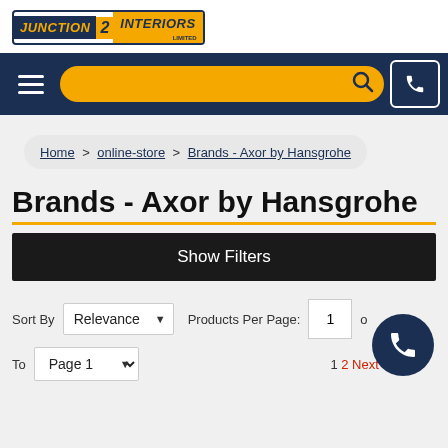[Figure (logo): Junction 2 Interiors Limited logo with dark navy and orange branding]
[Figure (screenshot): Navigation bar with hamburger menu, orange search bar, and phone button]
Home > online-store > Brands - Axor by Hansgrohe
Brands - Axor by Hansgrohe
Show Filters
Sort By  Relevance ▼  Products Per Page:  [box] Go
To  Page 1 ▼   1 2 Next Page >